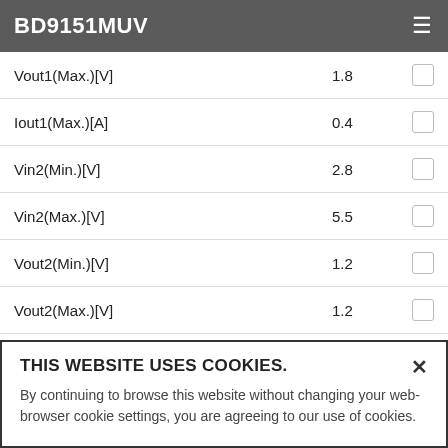BD9151MUV
| Parameter | Value | Select |
| --- | --- | --- |
| Vout1(Max.)[V] | 1.8 |  |
| Iout1(Max.)[A] | 0.4 |  |
| Vin2(Min.)[V] | 2.8 |  |
| Vin2(Max.)[V] | 5.5 |  |
| Vout2(Min.)[V] | 1.2 |  |
| Vout2(Max.)[V] | 1.2 |  |
| Iout2(Max.)[A] | 0.8 |  |
THIS WEBSITE USES COOKIES. By continuing to browse this website without changing your web-browser cookie settings, you are agreeing to our use of cookies.